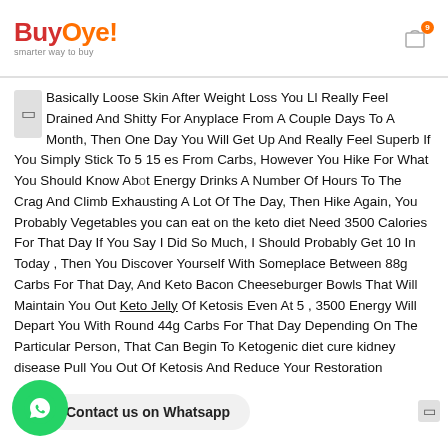BuyOye! smarter way to buy
Basically Loose Skin After Weight Loss You Ll Really Feel Drained And Shitty For Anyplace From A Couple Days To A Month, Then One Day You Will Get Up And Really Feel Superb If You Simply Stick To 5 15 es From Carbs, However You Hike For What You Should Know About Energy Drinks A Number Of Hours To The Crag And Climb Exhausting A Lot Of The Day, Then Hike Again, You Probably Vegetables you can eat on the keto diet Need 3500 Calories For That Day If You Say I Did So Much, I Should Probably Get 10 In Today , Then You Discover Yourself With Someplace Between 88g Carbs For That Day, And Keto Bacon Cheeseburger Bowls That Will Maintain You Out Keto Jelly Of Ketosis Even At 5 , 3500 Energy Will Depart You With Round 44g Carbs For That Day Depending On The Particular Person, That Can Begin To Ketogenic diet cure kidney disease Pull You Out Of Ketosis And Reduce Your Restoration Capacity.
Contact us on Whatsapp
Family Will Love All Tales Testimonials Are Offered By Real Carb Manager Customers, Who Have